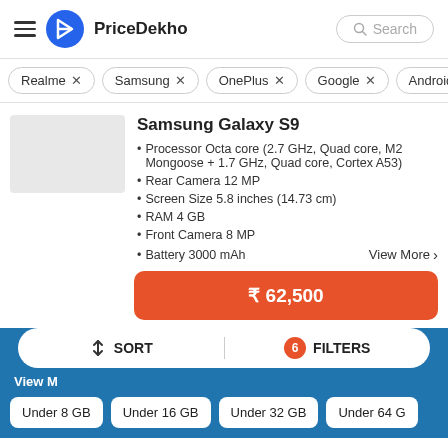PriceDekho
Realme ×
Samsung ×
OnePlus ×
Google ×
Android ×
Samsung Galaxy S9
Processor Octa core (2.7 GHz, Quad core, M2 Mongoose + 1.7 GHz, Quad core, Cortex A53)
Rear Camera 12 MP
Screen Size 5.8 inches (14.73 cm)
RAM 4 GB
Front Camera 8 MP
Battery 3000 mAh
View More >
₹ 62,500
SORT
6 FILTERS
View M
Under 8 GB
Under 16 GB
Under 32 GB
Under 64 G